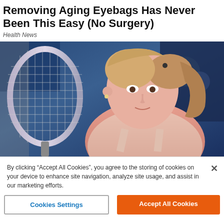Removing Aging Eyebags Has Never Been This Easy (No Surgery)
Health News
[Figure (photo): Female tennis player holding a pink tennis racket, wearing a light pink sleeveless top, with blonde hair in a ponytail, photographed at an indoor tennis venue with blue background]
By clicking “Accept All Cookies”, you agree to the storing of cookies on your device to enhance site navigation, analyze site usage, and assist in our marketing efforts.
Cookies Settings
Accept All Cookies